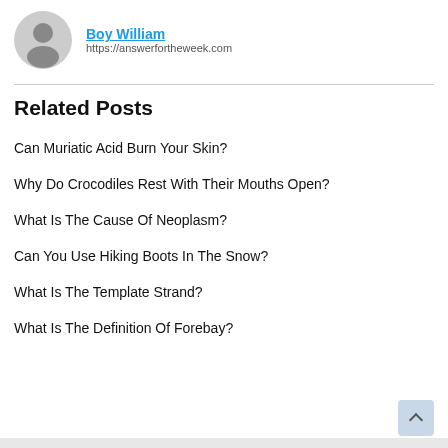Boy William  https://answerfortheweek.com
Related Posts
Can Muriatic Acid Burn Your Skin?
Why Do Crocodiles Rest With Their Mouths Open?
What Is The Cause Of Neoplasm?
Can You Use Hiking Boots In The Snow?
What Is The Template Strand?
What Is The Definition Of Forebay?